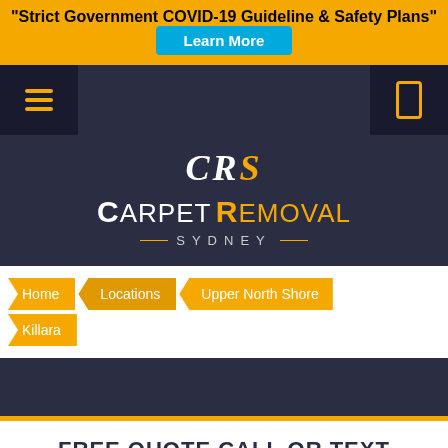"Strict Government COVID-19 Guideline & Safety Plans"
Learn More
[Figure (logo): CRS Carpet Removal Sydney logo with hamburger menu and phone icon in navigation bar]
Home
Locations
Upper North Shore
Killara
FREE QUOTE CALL OR TEXT
0424 402 220